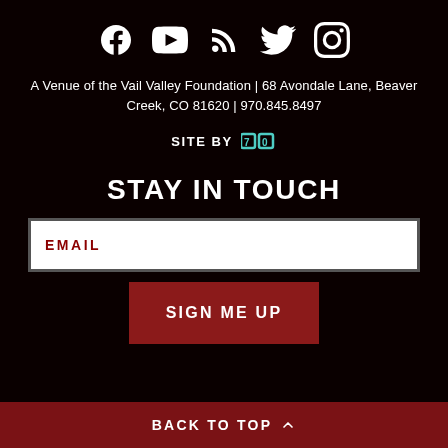[Figure (infographic): Row of 5 white social media icons: Facebook, YouTube, RSS feed, Twitter, Instagram]
A Venue of the Vail Valley Foundation | 68 Avondale Lane, Beaver Creek, CO 81620 | 970.845.8497
SITE BY [70 Degrees logo]
STAY IN TOUCH
EMAIL
SIGN ME UP
BACK TO TOP